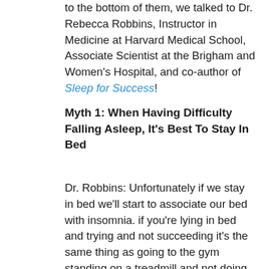to the bottom of them, we talked to Dr. Rebecca Robbins, Instructor in Medicine at Harvard Medical School, Associate Scientist at the Brigham and Women's Hospital, and co-author of Sleep for Success!
Myth 1: When Having Difficulty Falling Asleep, It's Best To Stay In Bed
Dr. Robbins: Unfortunately if we stay in bed we'll start to associate our bed with insomnia. if you're lying in bed and trying and not succeeding it's the same thing as going to the gym standing on a treadmill and not doing anything. Trying to fall asleep is important and it actually does take the healthy sleeper about 15 minutes to fall asleep, but much longer than